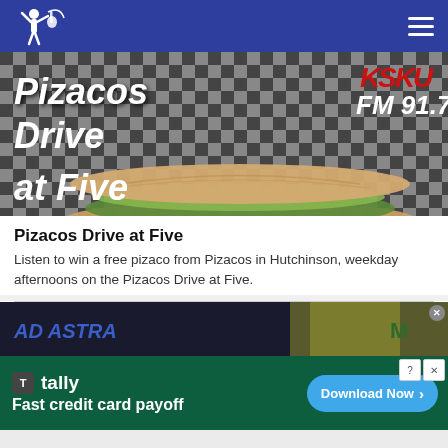KSKU FM 91.7 navigation bar with logo and menu
[Figure (photo): Pizacos Drive at Five promotional image showing a pizaco (flatbread sandwich) on a checkered surface with text overlay 'Pizacos Drive at Five' and 'KSKU FM 91.7' logo]
Pizacos Drive at Five
Listen to win a free pizaco from Pizacos in Hutchinson, weekday afternoons on the Pizacos Drive at Five.
[Figure (photo): Partial image showing people at what appears to be a music or sports event with text visible]
[Figure (other): Tally advertisement banner: 'Fast credit card payoff' with Download Now button]
Fast credit card payoff